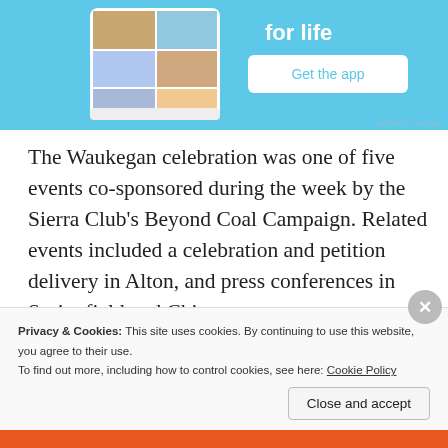[Figure (screenshot): Advertisement banner with blue background showing a mobile app mockup and 'Get the app' button]
The Waukegan celebration was one of five events co-sponsored during the week by the Sierra Club's Beyond Coal Campaign. Related events included a celebration and petition delivery in Alton, and press conferences in Springfield and Chicago.
Privacy & Cookies: This site uses cookies. By continuing to use this website, you agree to their use.
To find out more, including how to control cookies, see here: Cookie Policy
Close and accept